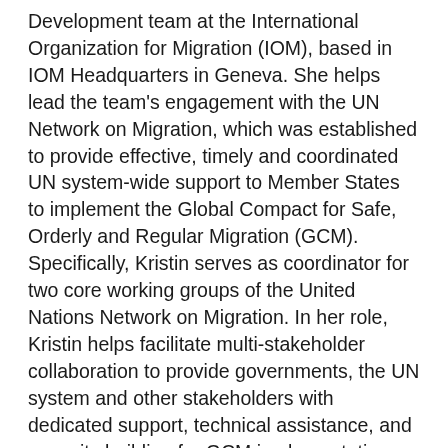Development team at the International Organization for Migration (IOM), based in IOM Headquarters in Geneva. She helps lead the team's engagement with the UN Network on Migration, which was established to provide effective, timely and coordinated UN system-wide support to Member States to implement the Global Compact for Safe, Orderly and Regular Migration (GCM). Specifically, Kristin serves as coordinator for two core working groups of the United Nations Network on Migration. In her role, Kristin helps facilitate multi-stakeholder collaboration to provide governments, the UN system and other stakeholders with dedicated support, technical assistance, and capacity building for GCM implementation, follow up, and review. In line with IOM's institutional strategy on migration and sustainable development, Kristin works to ensure that GCM implementation helps accelerate progress towards achieving the 2030 Agenda and Sustainable